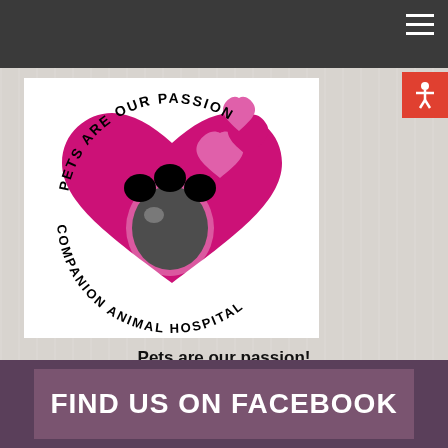[Figure (logo): Companion Animal Hospital logo: circular text reading 'PETS ARE OUR PASSION' (top arc) and 'COMPANION ANIMAL HOSPITAL' (bottom arc) around a magenta heart with a black paw print and pink floating hearts above.]
Pets are our passion!
Keeping your pet healthy and happy is our goal.
FIND US ON FACEBOOK